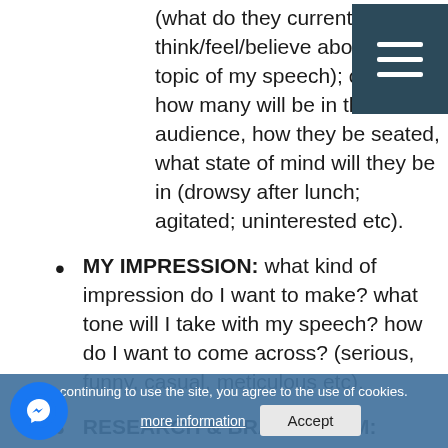(what do they currently think/feel/believe about the topic of my speech); context how many will be in the audience, how they be seated, what state of mind will they be in (drowsy after lunch; agitated; uninterested etc).
MY IMPRESSION: what kind of impression do I want to make? what tone will I take with my speech? how do I want to come across? (serious, funny, casual, meticulous etc).
RESEARCH & BRAINSTORM: identify the main points of your speech & brainstorm to make sure you are an expert on your topic; find out everything you can about the topic of your speech. Work on the basis that you
By continuing to use the site, you agree to the use of cookies.